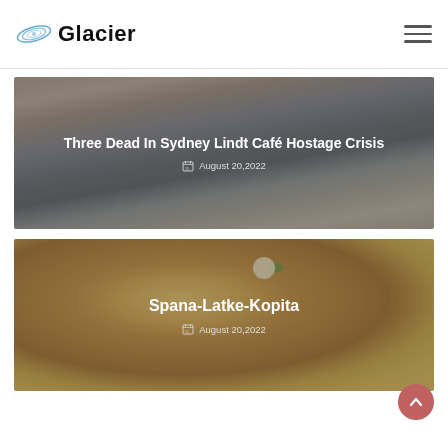Glacier
[Figure (photo): Street scene photo overlay with article card: Three Dead In Sydney Lindt Café Hostage Crisis, August 20,2022]
[Figure (photo): Food photo overlay with article card: Spana-Latke-Kopita, August 20,2022]